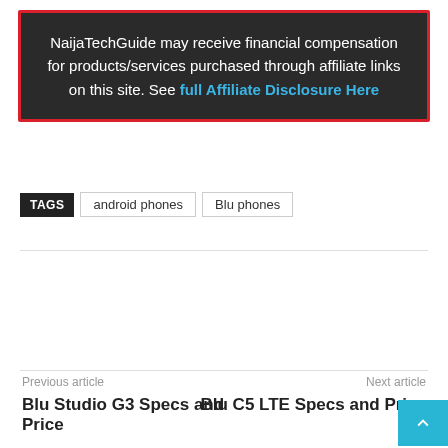NaijaTechGuide may receive financial compensation for products/services purchased through affiliate links on this site. See full Affiliate Disclosure Here
TAGS  android phones  Blu phones
[Figure (infographic): Facebook Like button showing 'Like 10' and social sharing icons for Facebook, Twitter, Pinterest, WhatsApp, and LinkedIn]
Previous article: Blu Studio G3 Specs and Price | Next article: Blu C5 LTE Specs and Price